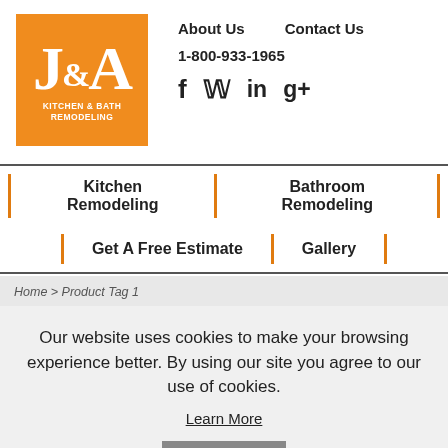[Figure (logo): J&A Kitchen & Bath Remodeling logo — orange square with white serif J&A text and subtitle]
About Us   Contact Us   1-800-933-1965
Kitchen Remodeling | Bathroom Remodeling | Get A Free Estimate | Gallery
Home > Product Tag 1
Our website uses cookies to make your browsing experience better. By using our site you agree to our use of cookies.
Learn More
I Agree